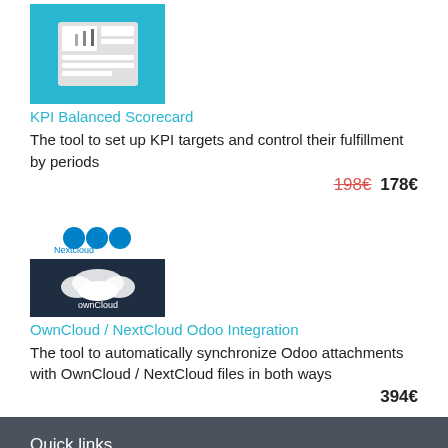[Figure (illustration): KPI Balanced Scorecard product icon on teal/cyan background showing a newspaper/document layout]
KPI Balanced Scorecard
The tool to set up KPI targets and control their fulfillment by periods
198€ 178€
[Figure (logo): Nextcloud logo (three blue circles) with 'Nextcloud' text, and OwnCloud dark logo below]
OwnCloud / NextCloud Odoo Integration
The tool to automatically synchronize Odoo attachments with OwnCloud / NextCloud files in both ways
394€
Quick links
Our tools
Our apps in the Odoo Store
Promos